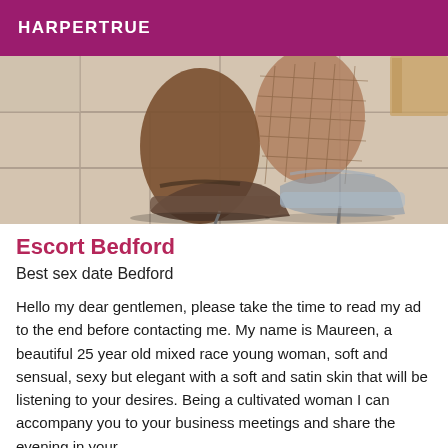HARPERTRUE
[Figure (photo): Close-up photo of feet wearing high-heeled clear platform shoes with fishnet stockings on a tiled floor]
Escort Bedford
Best sex date Bedford
Hello my dear gentlemen, please take the time to read my ad to the end before contacting me. My name is Maureen, a beautiful 25 year old mixed race young woman, soft and sensual, sexy but elegant with a soft and satin skin that will be listening to your desires. Being a cultivated woman I can accompany you to your business meetings and share the evening in your